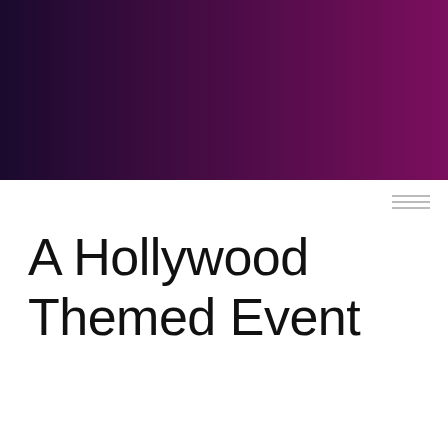[Figure (illustration): A gradient banner spanning the full width at the top of the page, transitioning from dark navy/indigo on the left to deep magenta/purple on the right.]
A Hollywood Themed Event